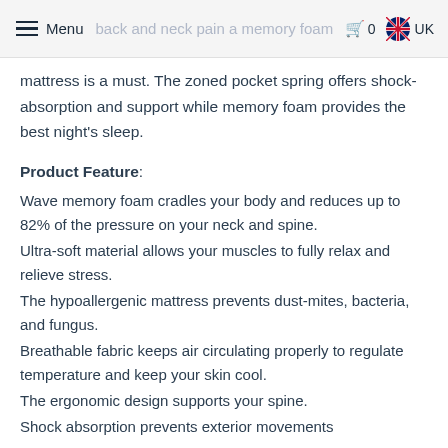Menu | back and neck pain a memory foam | 0 | UK
mattress is a must. The zoned pocket spring offers shock-absorption and support while memory foam provides the best night's sleep.
Product Feature:
Wave memory foam cradles your body and reduces up to 82% of the pressure on your neck and spine.
Ultra-soft material allows your muscles to fully relax and relieve stress.
The hypoallergenic mattress prevents dust-mites, bacteria, and fungus.
Breathable fabric keeps air circulating properly to regulate temperature and keep your skin cool.
The ergonomic design supports your spine.
Shock absorption prevents exterior movements